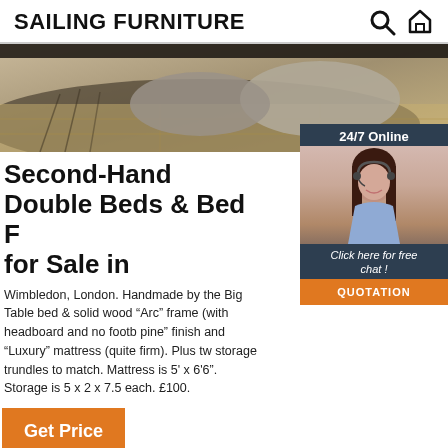SAILING FURNITURE
[Figure (photo): Interior photo showing cushions/pillows on a rug with wooden flooring]
[Figure (photo): 24/7 Online chat widget with smiling woman wearing headset, Click here for free chat, QUOTATION button]
Second-Hand Double Beds & Bed F for Sale in
Wimbledon, London. Handmade by the Big Table bed company solid wood "Arc" frame (with headboard and no footb pine" finish and "Luxury" mattress (quite firm). Plus tw storage trundles to match. Mattress is 5' x 6'6". Storage is 5 x 2 x 7.5 each. £100.
Get Price